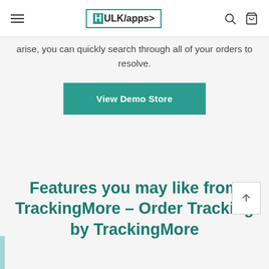HULKapps navigation bar with hamburger menu, logo, search and cart icons
arise, you can quickly search through all of your orders to resolve.
[Figure (other): Teal 'View Demo Store' button]
Features you may like from TrackingMore – Order Tracking by TrackingMore